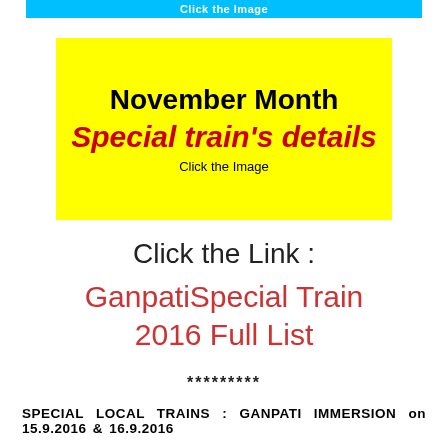[Figure (other): Blue banner at top with text 'Click the Image']
[Figure (other): Yellow banner with 'November Month Special train's details Click the Image']
Click the Link :
GanpatiSpecial Train 2016 Full List
*********
SPECIAL LOCAL TRAINS : GANPATI IMMERSION on 15.9.2016 & 16.9.2016